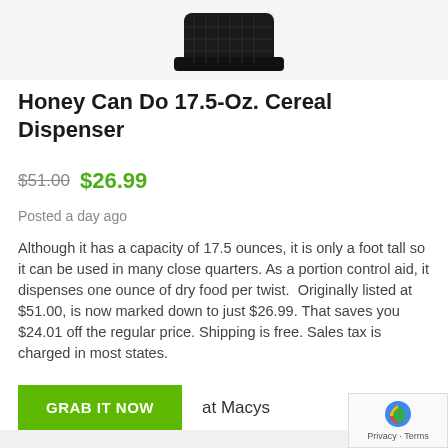[Figure (photo): Product image of a black Honey Can Do cereal dispenser, partially visible at top]
Honey Can Do 17.5-Oz. Cereal Dispenser
$51.00  $26.99
Posted a day ago
Although it has a capacity of 17.5 ounces, it is only a foot tall so it can be used in many close quarters. As a portion control aid, it dispenses one ounce of dry food per twist. Originally listed at $51.00, is now marked down to just $26.99. That saves you $24.01 off the regular price. Shipping is free. Sales tax is charged in most states.
GRAB IT NOW   at Macys